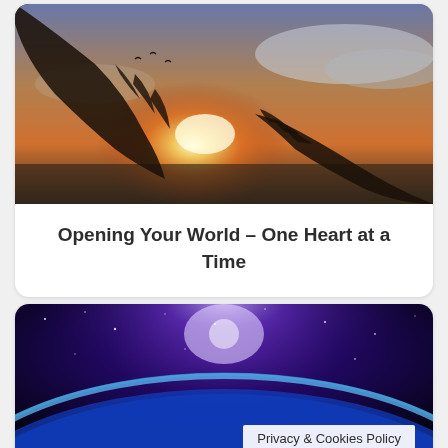[Figure (photo): Two hands reaching toward each other with fingertips nearly touching against a warm sunset sky with golden light between them, birds silhouetted in the background.]
Opening Your World – One Heart at a Time
[Figure (photo): View of planet Earth from space with glowing blue atmosphere along the horizon and purple/violet light from the galaxy and stars above, city lights visible on the surface.]
Privacy & Cookies Policy